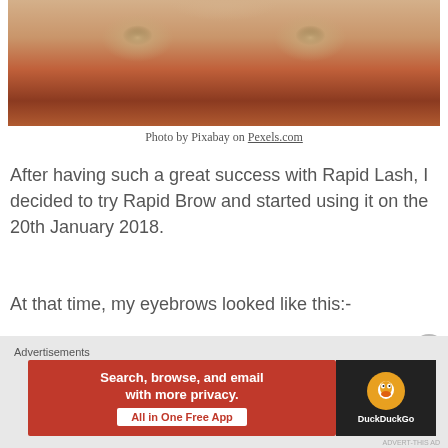[Figure (photo): Close-up of a woman's eyes with an orange and red patterned fabric covering the lower half of her face]
Photo by Pixabay on Pexels.com
After having such a great success with Rapid Lash, I decided to try Rapid Brow and started using it on the 20th January 2018.
At that time, my eyebrows looked like this:-
[Figure (photo): Close-up of a woman's forehead and eyebrow area showing sparse eyebrows]
Advertisements
[Figure (other): DuckDuckGo advertisement banner: Search, browse, and email with more privacy. All in One Free App]